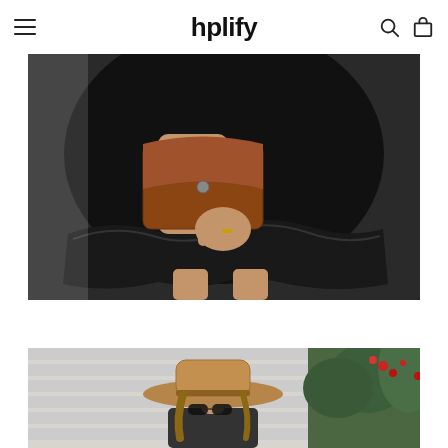hplify
[Figure (photo): Close-up of a woman in a black ruffled mini dress holding a brown leather clutch bag, showing the skirt and hands detail]
[Figure (photo): Woman wearing a tan wide-brim felt hat and sunglasses, standing near a green plant with red berries against a white horizontal-striped wall]